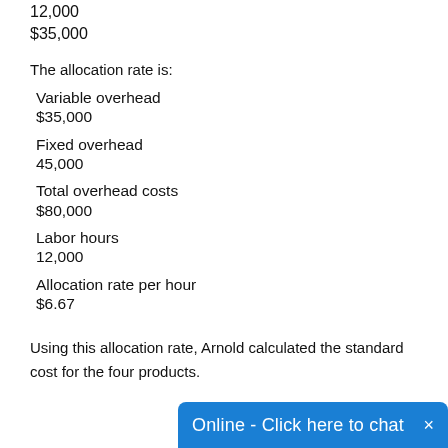12,000
$35,000
The allocation rate is:
Variable overhead
$35,000
Fixed overhead
45,000
Total overhead costs
$80,000
Labor hours
12,000
Allocation rate per hour
$6.67
Using this allocation rate, Arnold calculated the standard cost for the four products.